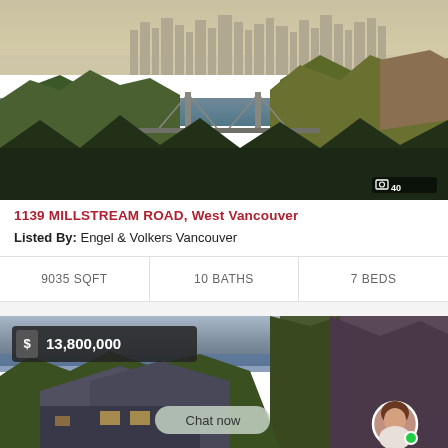[Figure (photo): Aerial photo of Vancouver skyline with Lions Gate Bridge, water, and forested hills. Photo count badge showing 40 images.]
1139 MILLSTREAM ROAD, West Vancouver
Listed By: Engel & Volkers Vancouver
| SQFT | BATHS | BEDS |
| --- | --- | --- |
| 9035 SQFT | 10 BATHS | 7 BEDS |
[Figure (photo): Aerial photo of West Vancouver luxury home with price badge $13,800,000 and chat now overlay with agent avatar.]